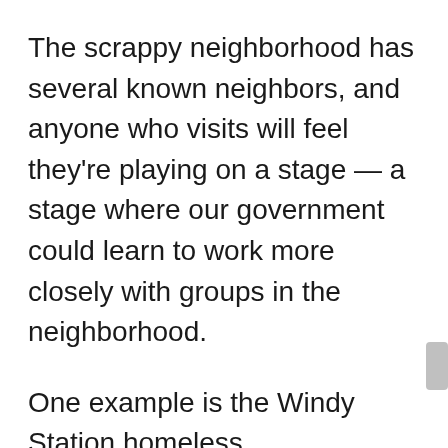The scrappy neighborhood has several known neighbors, and anyone who visits will feel they're playing on a stage — a stage where our government could learn to work more closely with groups in the neighborhood.
One example is the Windy Station homeless encampment. The complex spans a bunch of private lots and city land. Once a dump, it's now a longtime home to 24 local people — an average age 48 — who share a small building. The camp is open to the public